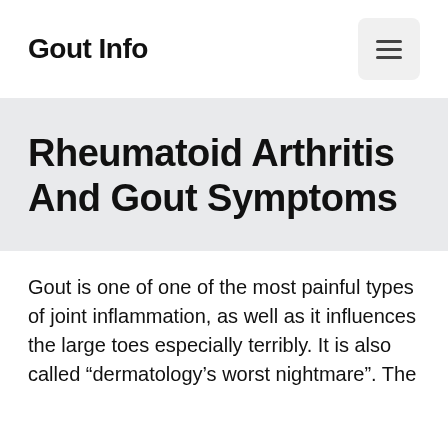Gout Info
Rheumatoid Arthritis And Gout Symptoms
Gout is one of one of the most painful types of joint inflammation, as well as it influences the large toes especially terribly. It is also called “dermatology’s worst nightmare”. The